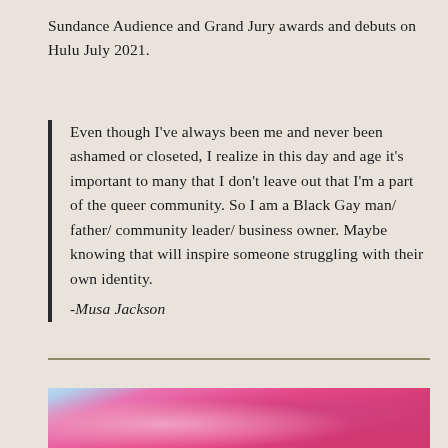Sundance Audience and Grand Jury awards and debuts on Hulu July 2021.
Even though I've always been me and never been ashamed or closeted, I realize in this day and age it's important to many that I don't leave out that I'm a part of the queer community. So I am a Black Gay man/ father/ community leader/ business owner. Maybe knowing that will inspire someone struggling with their own identity.
-Musa Jackson
[Figure (photo): Partial view of pink/magenta floral or fabric image at bottom of page, with light blue visible at left edge]